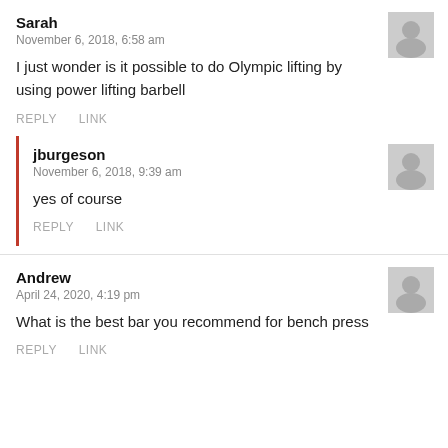Sarah
November 6, 2018, 6:58 am
I just wonder is it possible to do Olympic lifting by using power lifting barbell
REPLY   LINK
jburgeson
November 6, 2018, 9:39 am
yes of course
REPLY   LINK
Andrew
April 24, 2020, 4:19 pm
What is the best bar you recommend for bench press
REPLY   LINK